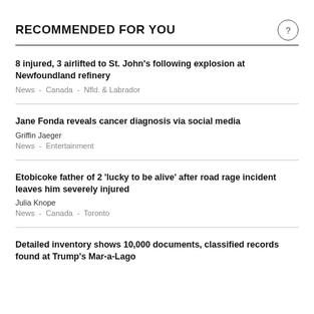RECOMMENDED FOR YOU
8 injured, 3 airlifted to St. John's following explosion at Newfoundland refinery
News  -  Canada  -  Nfld. & Labrador
Jane Fonda reveals cancer diagnosis via social media
Griffin Jaeger
News  -  Entertainment
Etobicoke father of 2 'lucky to be alive' after road rage incident leaves him severely injured
Julia Knope
News  -  Canada  -  Toronto
Detailed inventory shows 10,000 documents, classified records found at Trump's Mar-a-Lago